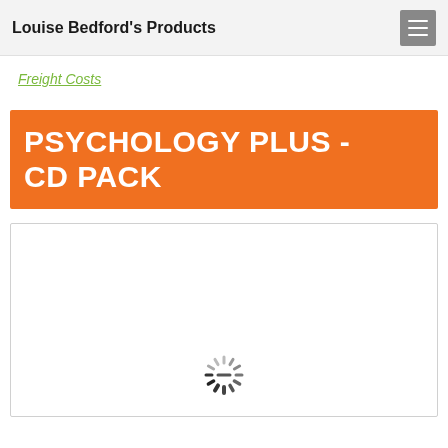Louise Bedford's Products
Freight Costs
PSYCHOLOGY PLUS - CD PACK
[Figure (other): Product image placeholder with loading spinner icon]